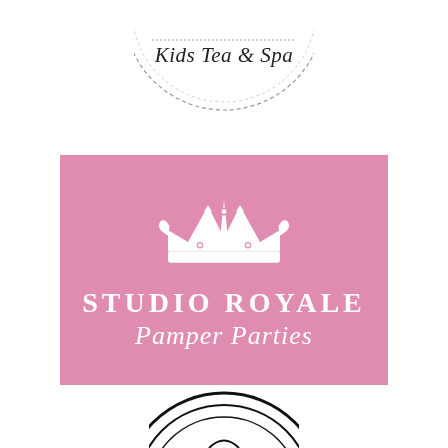[Figure (logo): Circular logo with dashed border and cursive text 'Kids Tea & Spa', partially visible at top of page]
[Figure (logo): Pink rectangular logo for Studio Royale Pamper Parties featuring a white crown above the text 'STUDIO ROYALE' in bold serif uppercase and 'Pamper Parties' in cursive script below]
[Figure (logo): Circular logo partially visible at the bottom of the page, black concentric circles with partial graphic]